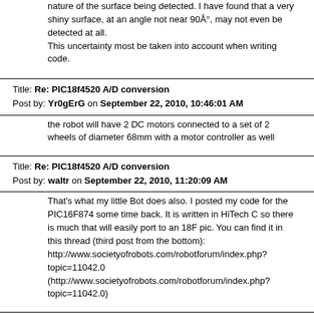nature of the surface being detected. I have found that a very shiny surface, at an angle not near 90°, may not even be detected at all.
This uncertainty most be taken into account when writing code.
Title: Re: PIC18f4520 A/D conversion
Post by: Yr0gErG on September 22, 2010, 10:46:01 AM
the robot will have 2 DC motors connected to a set of 2 wheels of diameter 68mm with a motor controller as well
Title: Re: PIC18f4520 A/D conversion
Post by: waltr on September 22, 2010, 11:20:09 AM
That's what my little Bot does also. I posted my code for the PIC16F874 some time back. It is written in HiTech C so there is much that will easily port to an 18F pic. You can find it in this thread (third post from the bottom):
http://www.societyofrobots.com/robotforum/index.php?topic=11042.0
(http://www.societyofrobots.com/robotforum/index.php?topic=11042.0)
Title: Re: PIC18f4520 A/D conversion
Post by: Yr0gErG on September 22, 2010, 06:25:08 PM